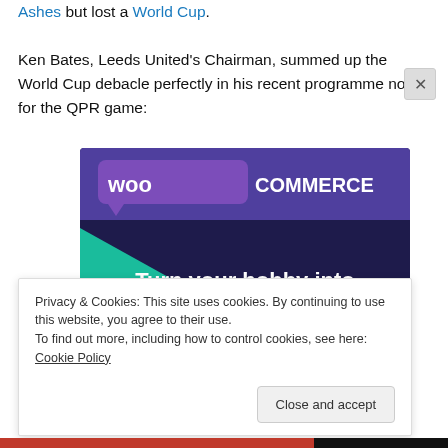Ashes but lost a World Cup. Ken Bates, Leeds United's Chairman, summed up the World Cup debacle perfectly in his recent programme notes for the QPR game:
[Figure (illustration): WooCommerce advertisement banner with dark purple/navy background, green triangle on left, cyan circle on right. WooCommerce logo at top with speech-bubble style purple badge. Text reads: 'Turn your hobby into a business in 8 steps']
Privacy & Cookies: This site uses cookies. By continuing to use this website, you agree to their use. To find out more, including how to control cookies, see here: Cookie Policy